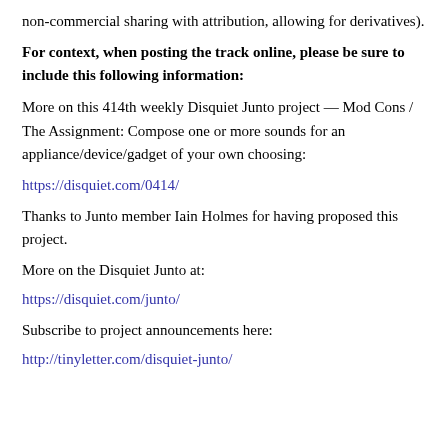non-commercial sharing with attribution, allowing for derivatives).
For context, when posting the track online, please be sure to include this following information:
More on this 414th weekly Disquiet Junto project — Mod Cons / The Assignment: Compose one or more sounds for an appliance/device/gadget of your own choosing:
https://disquiet.com/0414/
Thanks to Junto member Iain Holmes for having proposed this project.
More on the Disquiet Junto at:
https://disquiet.com/junto/
Subscribe to project announcements here:
http://tinyletter.com/disquiet-junto/